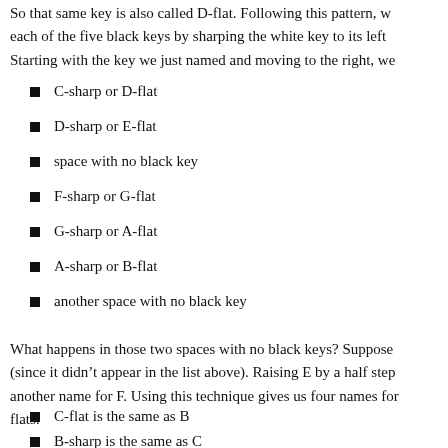So that same key is also called D-flat. Following this pattern, we can name each of the five black keys by sharping the white key to its left or Starting with the key we just named and moving to the right, we
C-sharp or D-flat
D-sharp or E-flat
space with no black key
F-sharp or G-flat
G-sharp or A-flat
A-sharp or B-flat
another space with no black key
What happens in those two spaces with no black keys? Suppose (since it didn't appear in the list above). Raising E by a half step another name for F. Using this technique gives us four names for flats:
C-flat is the same as B
B-sharp is the same as C